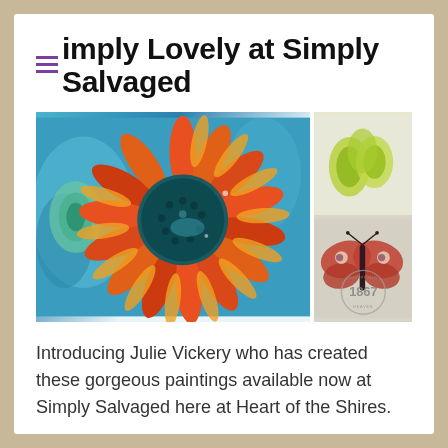Simply Lovely at Simply Salvaged
[Figure (photo): Collage of two images: left side shows a vibrant painting of a large red/orange flower (sunflower-like) on a blue background; top right shows olives or green fruit; bottom right shows a red butterfly with a circular '1867 Shopping Heaven' stamp overlay.]
Introducing Julie Vickery who has created these gorgeous paintings available now at Simply Salvaged here at Heart of the Shires.
Heart of the Shires  April 4, 2019  News
Read more